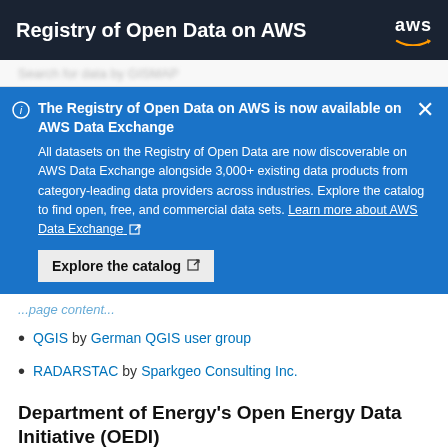Registry of Open Data on AWS
The Registry of Open Data on AWS is now available on AWS Data Exchange. All datasets on the Registry of Open Data are now discoverable on AWS Data Exchange alongside 3,000+ existing data products from category-leading data providers across industries. Explore the catalog to find open, free, and commercial data sets. Learn more about AWS Data Exchange
QGIS by German QGIS user group
RADARSTAC by Sparkgeo Consulting Inc.
Department of Energy's Open Energy Data Initiative (OEDI)
Tools & Applications